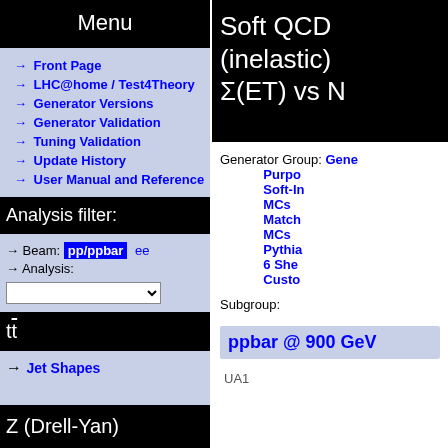Menu
→ Front Page
→ LHC@home / Test4Theory
→ Generator Versions
→ Generator Validation
→ Tuning Validation
→ Update History
→ User Manual and Reference
Analysis filter:
→ Beam: pp/ppbar ee
→ Analysis: [dropdown]
tt̄
→ Jet Shapes
Z (Drell-Yan)
Soft QCD (inelastic) Σ(ET) vs N
Generator Group: General Purpose Soft-Inclusive MCs Matched MCs Pythia 6 Sherpa Custom
Subgroup:
ppbar @ 900 GeV
UA1